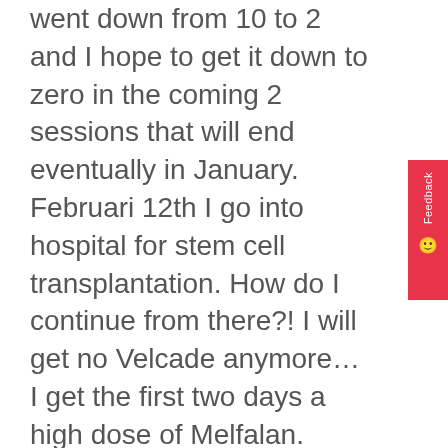went down from 10 to 2 and I hope to get it down to zero in the coming 2 sessions that will end eventually in January. Februari 12th I go into hospital for stem cell transplantation. How do I continue from there?! I will get no Velcade anymore… I get the first two days a high dose of Melfalan.
Can I still use the CBD oil and how much should I take ? And